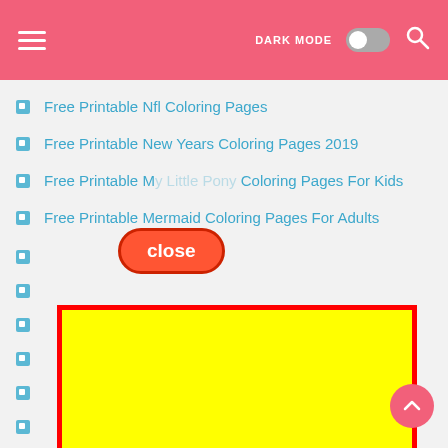DARK MODE [toggle] [search]
Free Printable Nfl Coloring Pages
Free Printable New Years Coloring Pages 2019
Free Printable My Little Pony Coloring Pages For Kids
Free Printable Mermaid Coloring Pages For Adults
[Figure (screenshot): A mobile website UI showing a pink header with hamburger menu, dark mode toggle, and search icon. Below is a list of links to free printable coloring pages. A red 'close' bubble overlays the list. A large yellow rectangle with a red border covers most of the lower portion of the page. A pink scroll-to-top button is visible at the bottom right.]